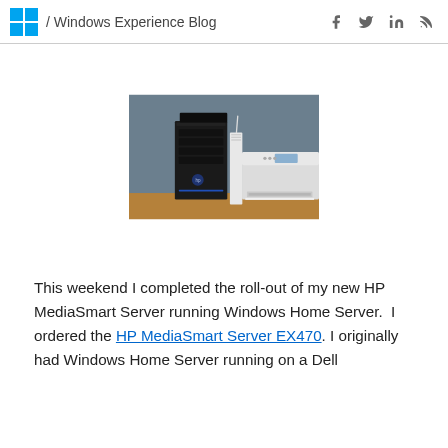/ Windows Experience Blog
[Figure (photo): Photo of an HP MediaSmart Server (black tower) next to a white wireless router and an HP printer/scanner, sitting on a wooden desk against a blue-grey wall.]
This weekend I completed the roll-out of my new HP MediaSmart Server running Windows Home Server.  I ordered the HP MediaSmart Server EX470. I originally had Windows Home Server running on a Dell...